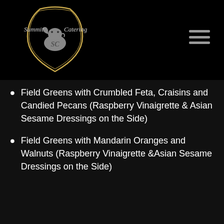[Figure (logo): Summit Catering logo with decorative emblem and italic script text]
Field Greens with Crumbled Feta, Craisins and Candied Pecans (Raspberry Vinaigrette & Asian Sesame Dressings on the Side)
Field Greens with Mandarin Oranges and Walnuts (Raspberry Vinaigrette &Asian Sesame Dressings on the Side)